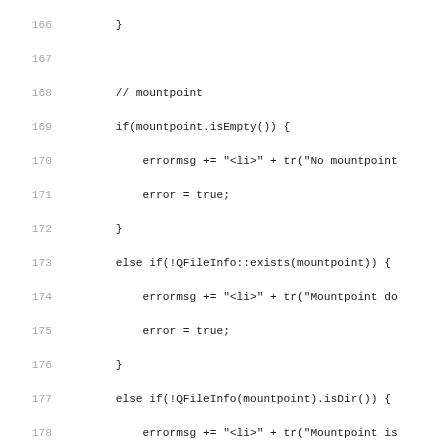Code listing lines 166-195, showing C++/Qt source code for mountpoint and platform validation logic